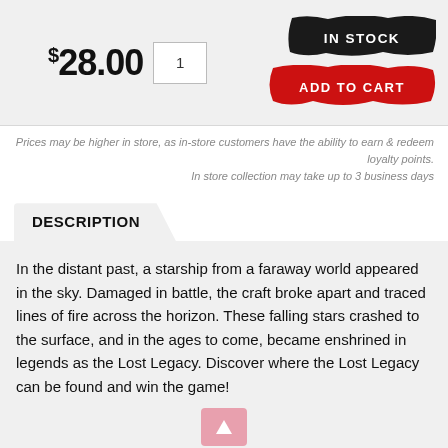$28.00
1
[Figure (infographic): IN STOCK badge on black brushstroke background]
[Figure (infographic): ADD TO CART button on red brushstroke background]
Prices may be higher in store, as in-store customers have the ability to earn & redeem loyalty points.
In store collection may take up to 3 business days
DESCRIPTION
In the distant past, a starship from a faraway world appeared in the sky. Damaged in battle, the craft broke apart and traced lines of fire across the horizon. These falling stars crashed to the surface, and in the ages to come, became enshrined in legends as the Lost Legacy. Discover where the Lost Legacy can be found and win the game!
Lost Legacy: Fourth Chronicle contains two sets of game cards: The Werewolf and the Injured Heart. Each set and...